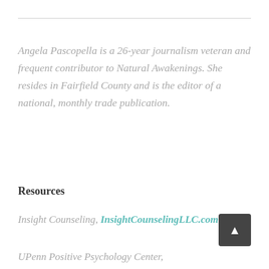Angela Pascopella is a 26-year journalism veteran and frequent contributor to Natural Awakenings. She resides in Fairfield County and is the editor of a national, monthly trade publication.
Resources
Insight Counseling, InsightCounselingLLC.com
UPenn Positive Psychology Center,